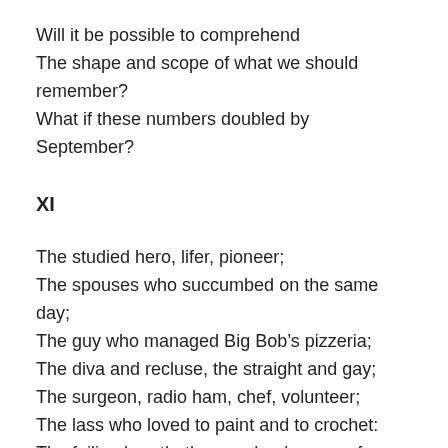Will it be possible to comprehend
The shape and scope of what we should remember?
What if these numbers doubled by September?
XI
The studied hero, lifer, pioneer;
The spouses who succumbed on the same day;
The guy who managed Big Bob’s pizzeria;
The diva and recluse, the straight and gay;
The surgeon, radio ham, chef, volunteer;
The lass who loved to paint and to crochet:
The failing breath, the cough, absence of smell;
The horror when you know that all’s not well.
XII
From Cedar Falls to Bethlehem, Pa.;